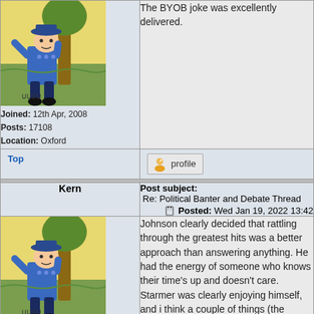[Figure (illustration): Cartoon avatar of a soldier leaning against a tree, wearing a blue uniform and hat, with a yellow background. Used as forum user avatar.]
Joined: 12th Apr, 2008
Posts: 17108
Location: Oxford
The BYOB joke was excellently delivered.
Top
profile
Kern
Post subject: Re: Political Banter and Debate Thread
Posted: Wed Jan 19, 2022 13:42
[Figure (illustration): Cartoon avatar of a soldier leaning against a tree, wearing a blue uniform and hat, with a yellow background.]
Joined: 12th Apr, 2008
Posts: 17108
Location: Oxford
Johnson clearly decided that rattling through the greatest hits was a better approach than answering anything. He had the energy of someone who knows their time's up and doesn't care.
Starmer was clearly enjoying himself, and i think a couple of things (the Queen statement, the statement of Labour's plans) were designed to stick in people's minds rather than hit